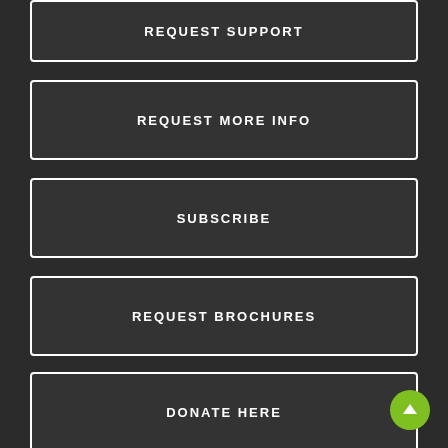REQUEST SUPPORT
REQUEST MORE INFO
SUBSCRIBE
REQUEST BROCHURES
DONATE HERE
[Figure (infographic): Green circular scroll-to-top button with upward arrow]